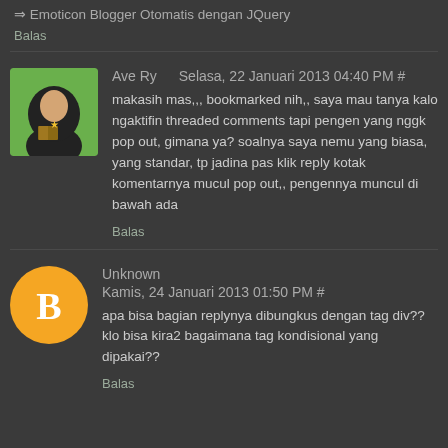⇒ Emoticon Blogger Otomatis dengan JQuery
Balas
Ave Ry   Selasa, 22 Januari 2013 04:40 PM #
makasih mas,,, bookmarked nih,, saya mau tanya kalo ngaktifin threaded comments tapi pengen yang nggk pop out, gimana ya? soalnya saya nemu yang biasa, yang standar, tp jadina pas klik reply kotak komentarnya mucul pop out,, pengennya muncul di bawah ada
Balas
Unknown
Kamis, 24 Januari 2013 01:50 PM #
apa bisa bagian replynya dibungkus dengan tag div?? klo bisa kira2 bagaimana tag kondisional yang dipakai??
Balas